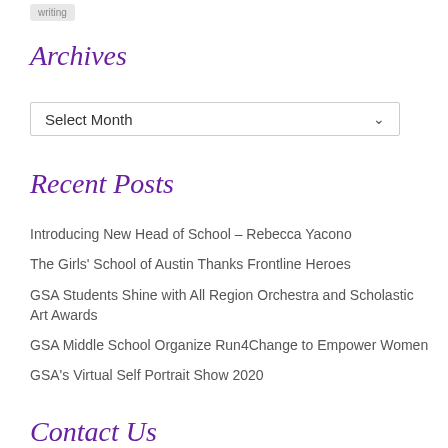writing
Archives
Select Month
Recent Posts
Introducing New Head of School – Rebecca Yacono
The Girls' School of Austin Thanks Frontline Heroes
GSA Students Shine with All Region Orchestra and Scholastic Art Awards
GSA Middle School Organize Run4Change to Empower Women
GSA's Virtual Self Portrait Show 2020
Contact Us